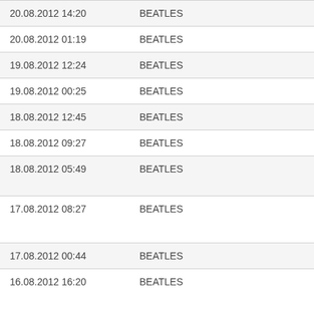| 20.08.2012 14:20 | BEATLES |
| 20.08.2012 01:19 | BEATLES |
| 19.08.2012 12:24 | BEATLES |
| 19.08.2012 00:25 | BEATLES |
| 18.08.2012 12:45 | BEATLES |
| 18.08.2012 09:27 | BEATLES |
| 18.08.2012 05:49 | BEATLES |
| 17.08.2012 08:27 | BEATLES |
| 17.08.2012 00:44 | BEATLES |
| 16.08.2012 16:20 | BEATLES |
| 16.08.2012 09:20 | BEATLES |
| 16.08.2012 02:23 | BEATLES |
| 15.08.2012 11:26 | BEATLES |
| 15.08.2012 03:50 | BEATLES |